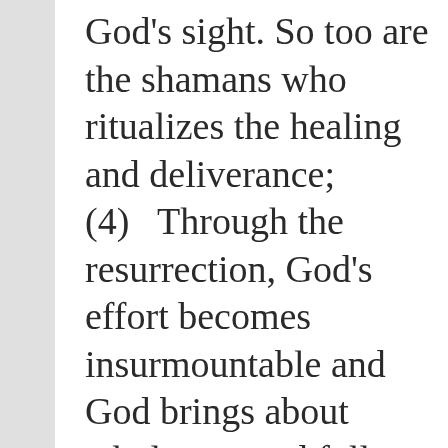God's sight. So too are the shamans who ritualizes the healing and deliverance; (4)   Through the resurrection, God's effort becomes insurmountable and God brings about wholeness and fullness of life to creation and